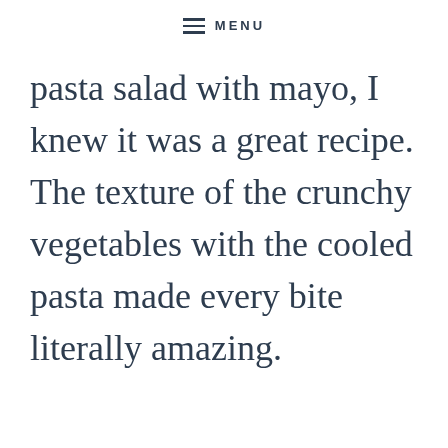≡  MENU
pasta salad with mayo, I knew it was a great recipe. The texture of the crunchy vegetables with the cooled pasta made every bite literally amazing.